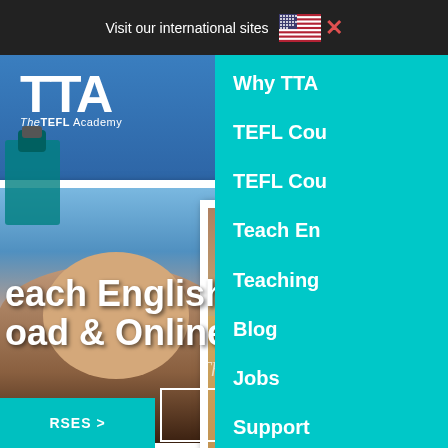Visit our international sites
[Figure (screenshot): The TEFL Academy (TTA) website homepage screenshot showing logo, hero images of teachers, hero text 'Teach English Abroad & Online', navigation menu on right side, and buttons for courses and jobs]
each English
aod & Online
Why TTA
TEFL Cou...
TEFL Cou...
Teach En...
Teaching...
Blog
Jobs
Support
RSES >
VIEW JOBS >